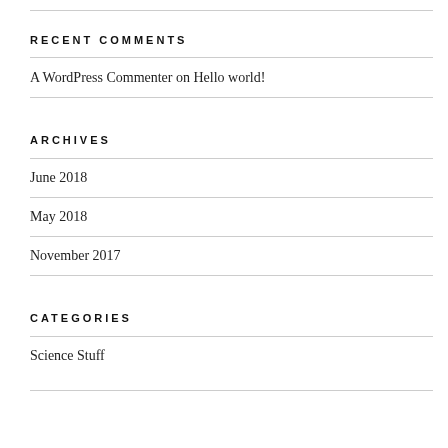RECENT COMMENTS
A WordPress Commenter on Hello world!
ARCHIVES
June 2018
May 2018
November 2017
CATEGORIES
Science Stuff